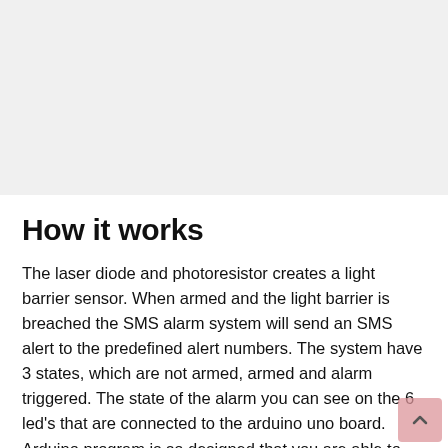[Figure (photo): Gray/white blank area at top of page representing an image placeholder]
How it works
The laser diode and photoresistor creates a light barrier sensor. When armed and the light barrier is breached the SMS alarm system will send an SMS alert to the predefined alert numbers. The system have 3 states, which are not armed, armed and alarm triggered. The state of the alarm you can see on the 6 led's that are connected to the arduino uno board. Arduino program is so designed that you are able to arm or disarm the system only from allowed phone numbers. If you are really paranoiac you could